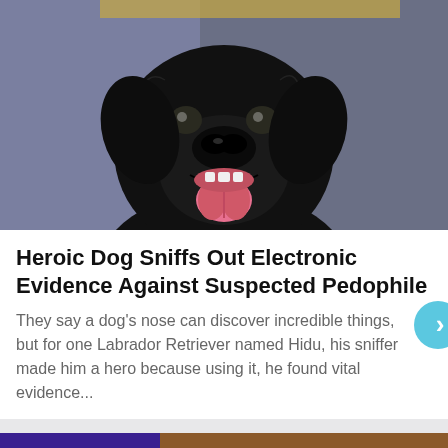[Figure (photo): A black Labrador Retriever dog with mouth open and tongue out, facing camera, against a purple/blue background]
Heroic Dog Sniffs Out Electronic Evidence Against Suspected Pedophile
They say a dog's nose can discover incredible things, but for one Labrador Retriever named Hidu, his sniffer made him a hero because using it, he found vital evidence...
[Figure (photo): Advertisement: Hefty STRONG, FABULOSO FRESH - orange banner ad with Hefty and Fabuloso logos, showing product packaging on right side]